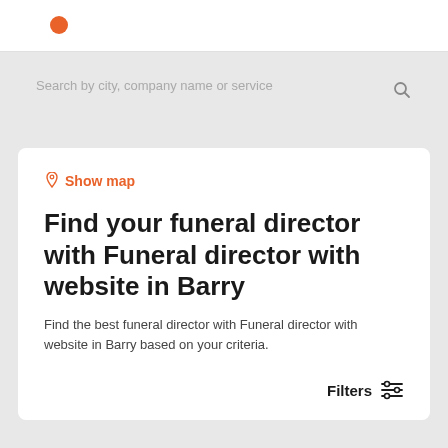●
Search by city, company name or service
Show map
Find your funeral director with Funeral director with website in Barry
Find the best funeral director with Funeral director with website in Barry based on your criteria.
Filters